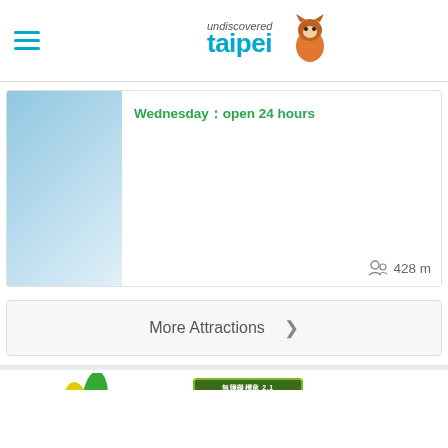undiscovered taipei
Wednesday：open 24 hours
428 m
More Attractions >
[Figure (logo): Taipei City Government logo with colorful brushstrokes and TAIPEI text]
[Figure (logo): Accessibility certification badge 無障礙標章2.1]
Update：2022-08-24
Department of Information and Tourism,Taipei City Government
Address: 110024, 4F, No.1, City Hall Rd., Xinyi District, Taipei, Taiwan, R.O.C.
For callers in Taipei City please dial 1999(Chinese) for the Citizen Hotline;
For callers outside of Taipei City, please dial +886 2 27208889 ext.